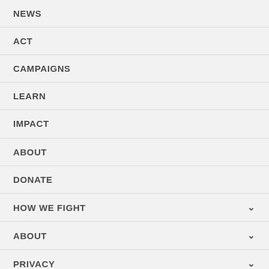NEWS
ACT
CAMPAIGNS
LEARN
IMPACT
ABOUT
DONATE
HOW WE FIGHT
ABOUT
PRIVACY